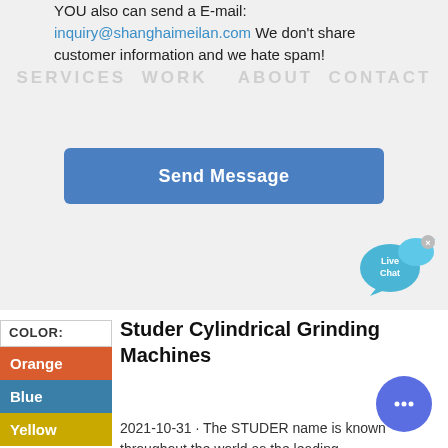YOU also can send a E-mail: inquiry@shanghaimeilan.com We don't share customer information and we hate spam!
SERVICES  WORK    ABOUT  CONTACT
[Figure (other): Blue 'Send Message' button]
[Figure (other): Live Chat speech bubble widget with x close button]
COLOR:
Orange
Blue
Yellow
Studer Cylindrical Grinding Machines
2021-10-31 · The STUDER name is known throughout the world as the leading manufacturers of Universal, External and Internal Cylindrical Grinding Machines for
[Figure (other): Round blue chat button with ellipsis icon]